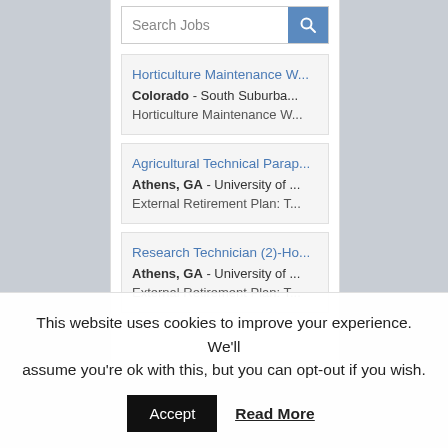Search Jobs
Horticulture Maintenance W... | Colorado - South Suburba... | Horticulture Maintenance W...
Agricultural Technical Parap... | Athens, GA - University of ... | External Retirement Plan: T...
Research Technician (2)-Ho... | Athens, GA - University of ... | External Retirement Plan: T...
This website uses cookies to improve your experience. We'll assume you're ok with this, but you can opt-out if you wish. Accept Read More